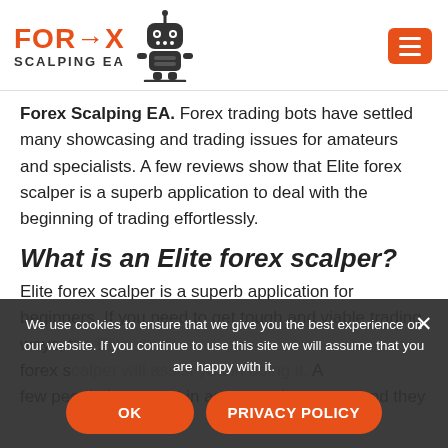[Figure (logo): Forex Scalping EA logo with robot icon and orange text]
Forex Scalping EA. Forex trading bots have settled many showcasing and trading issues for amateurs and specialists. A few reviews show that Elite forex scalper is a superb application to deal with the beginning of trading effortlessly.
What is an Elite forex scalper?
Elite forex scalper is a superb application for beginners. If you need to get tough and viable trading ways, the Elite forex scalper will assist you in doing it. A few people have trust in automated revenue, and they
We use cookies to ensure that we give you the best experience on our website. If you continue to use this site we will assume that you are happy with it.